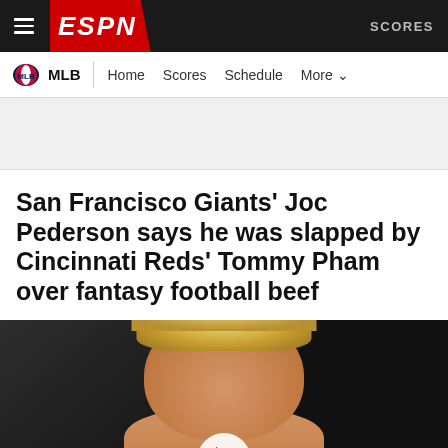ESPN — SCORES
MLB | Home  Scores  Schedule  More
San Francisco Giants' Joc Pederson says he was slapped by Cincinnati Reds' Tommy Pham over fantasy football beef
[Figure (photo): Photo of Joc Pederson, a man with curly blonde hair, shown from behind a video play button overlay on a dark background]